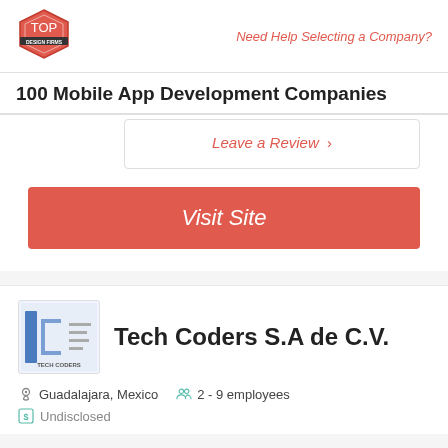Top Design Firms logo | Need Help Selecting a Company?
100 Mobile App Development Companies
Leave a Review >
Visit Site
[Figure (logo): Tech Coders S.A de C.V. company logo — blue and grey tech style]
Tech Coders S.A de C.V.
Guadalajara, Mexico   2 - 9 employees
Undisclosed